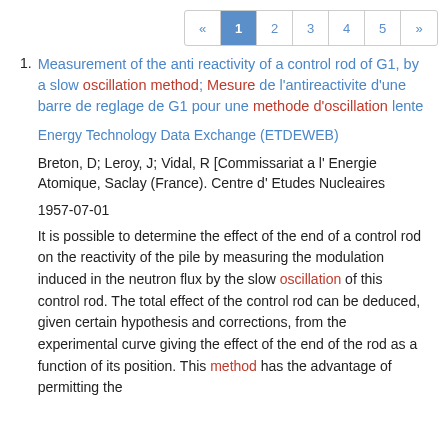« 1 2 3 4 5 »
Measurement of the anti reactivity of a control rod of G1, by a slow oscillation method; Mesure de l'antireactivite d'une barre de reglage de G1 pour une methode d'oscillation lente
Energy Technology Data Exchange (ETDEWEB)
Breton, D; Leroy, J; Vidal, R [Commissariat a l' Energie Atomique, Saclay (France). Centre d' Etudes Nucleaires
1957-07-01
It is possible to determine the effect of the end of a control rod on the reactivity of the pile by measuring the modulation induced in the neutron flux by the slow oscillation of this control rod. The total effect of the control rod can be deduced, given certain hypothesis and corrections, from the experimental curve giving the effect of the end of the rod as a function of its position. This method has the advantage of permitting the